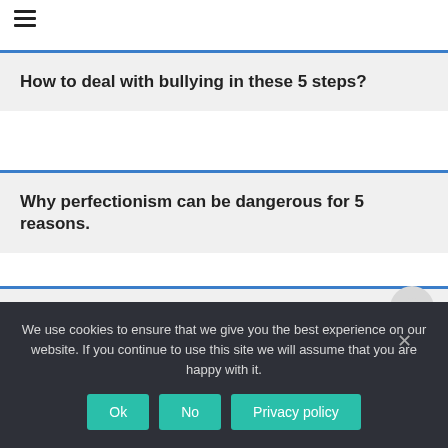[Figure (other): Hamburger menu icon (three horizontal lines)]
How to deal with bullying in these 5 steps?
Why perfectionism can be dangerous for 5 reasons.
How to improve relationships in life in 5 easy steps?
We use cookies to ensure that we give you the best experience on our website. If you continue to use this site we will assume that you are happy with it.
Ok
No
Privacy policy